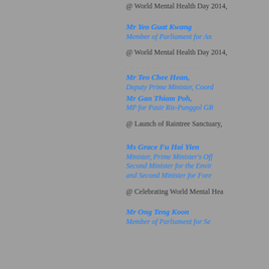@ World Mental Health Day 2014,
Mr Yeo Guat Kwang
Member of Parliament for An
@ World Mental Health Day 2014,
Mr Teo Chee Hean,
Deputy Prime Minister, Coord
Mr Gan Thiam Poh,
MP for Pasir Ris-Punggol GR
@ Launch of Raintree Sanctuary,
Ms Grace Fu Hai Yien
Minister, Prime Minister's Off
Second Minister for the Envir
and Second Minister for Fore
@ Celebrating World Mental Hea
Mr Ong Teng Koon
Member of Parliament for Se